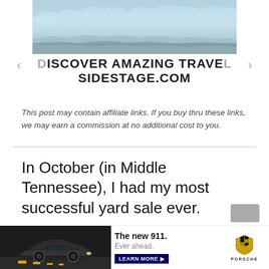[Figure (photo): Glacier or icy cliff face photo, blue and white tones, shown at top of page in a centered horizontal strip]
DISCOVER AMAZING TRAVEL
SIDESTAGE.COM
This post may contain affiliate links. If you buy thru these links, we may earn a commission at no additional cost to you.
In October (in Middle Tennessee), I had my most successful yard sale ever.
[Figure (photo): Porsche 911 advertisement showing a sports car on a winding road with text: The new 911. Ever ahead. LEARN MORE button and Porsche logo]